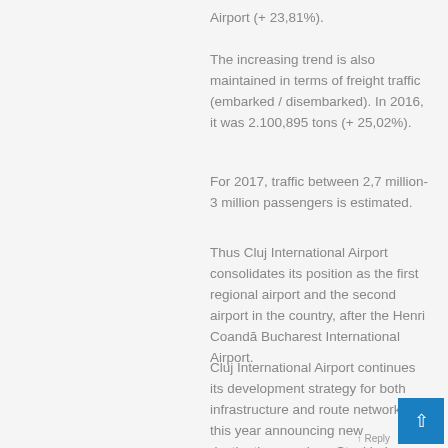Airport (+ 23,81%).
The increasing trend is also maintained in terms of freight traffic (embarked / disembarked). In 2016, it was 2.100,895 tons (+ 25,02%).
For 2017, traffic between 2,7 million-3 million passengers is estimated.
Thus Cluj International Airport consolidates its position as the first regional airport and the second airport in the country, after the Henri Coandă Bucharest International Airport.
Cluj International Airport continues its development strategy for both infrastructure and route networks, this year announcing new destinations such as Stockholm (Sweden), Bratislava (Slovakia), Karlsruhe-Baden-Baden, Frankfurt Hahn, Hamburg (Germany) , Larnaca (Cyprus), Nice (France), Budapest (Hungary), Malta and Constanța (Romania).
↑ Reply